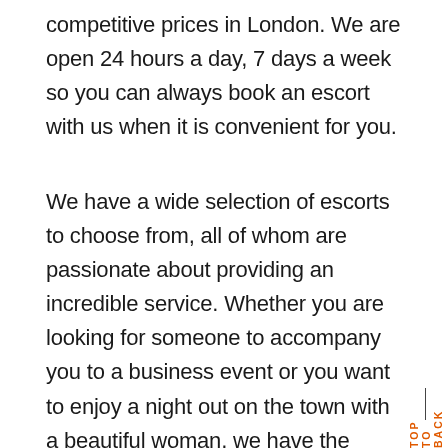competitive prices in London. We are open 24 hours a day, 7 days a week so you can always book an escort with us when it is convenient for you.
We have a wide selection of escorts to choose from, all of whom are passionate about providing an incredible service. Whether you are looking for someone to accompany you to a business event or you want to enjoy a night out on the town with a beautiful woman, we have the perfect escort for you.
[Figure (photo): Photo of a young woman smiling, wearing a fluffy hooded jacket, standing in front of a red British telephone box. Trees visible in background.]